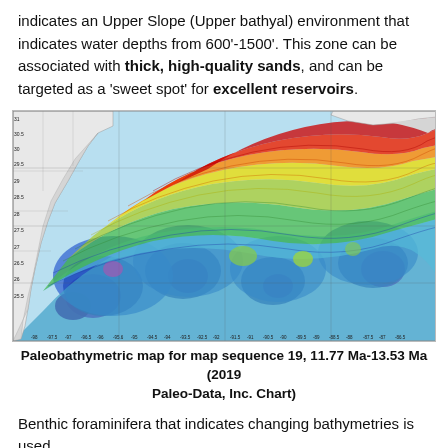indicates an Upper Slope (Upper bathyal) environment that indicates water depths from 600'-1500'. This zone can be associated with thick, high-quality sands, and can be targeted as a 'sweet spot' for excellent reservoirs.
[Figure (map): Paleobathymetric contour map of the Gulf of Mexico region showing color-coded depth/paleobathymetric data. The map shows latitude range approximately 25.5 to 31+ degrees N and longitude from approximately -98.5 to -86.5 degrees W. Colors range from purple/dark blue (deepest) through blue, cyan, green, yellow, orange, red (shallowest) with contour lines overlaid. Land areas shown in white/grey with state boundary lines visible.]
Paleobathymetric map for map sequence 19, 11.77 Ma-13.53 Ma (2019 Paleo-Data, Inc. Chart)
Benthic foraminifera that indicates changing bathymetries is used